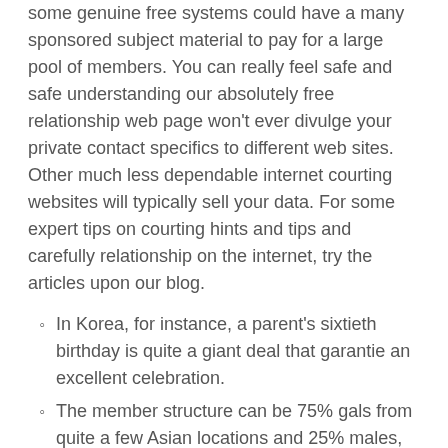some genuine free systems could have a many sponsored subject material to pay for a large pool of members. You can really feel safe and safe understanding our absolutely free relationship web page won't ever divulge your private contact specifics to different web sites. Other much less dependable internet courting websites will typically sell your data. For some expert tips on courting hints and tips and carefully relationship on the internet, try the articles upon our blog.
In Korea, for instance, a parent's sixtieth birthday is quite a giant deal that garantie an excellent celebration.
The member structure can be 75% gals from quite a few Asian locations and 25% males, essentially from the US.
So yow will discover Asian couples numerous age versions.